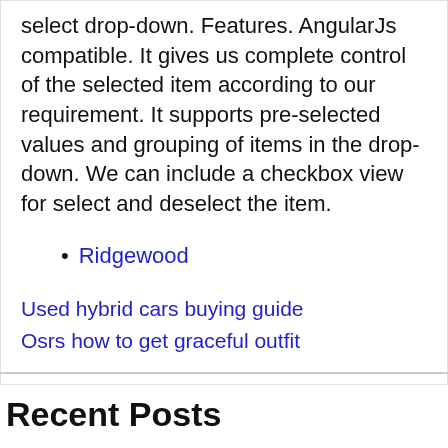select drop-down. Features. AngularJs compatible. It gives us complete control of the selected item according to our requirement. It supports pre-selected values and grouping of items in the drop-down. We can include a checkbox view for select and deselect the item.
Ridgewood
Used hybrid cars buying guide
Osrs how to get graceful outfit
Recent Posts